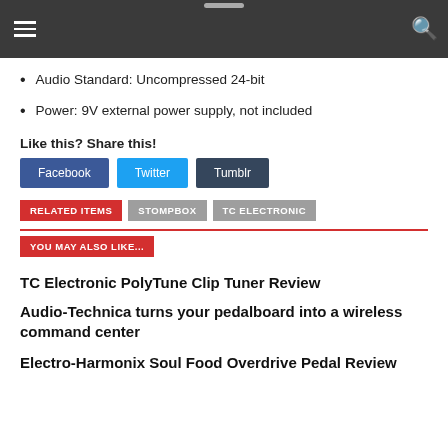Audio Standard: Uncompressed 24-bit
Power: 9V external power supply, not included
Like this? Share this!
Facebook  Twitter  Tumblr
RELATED ITEMS  STOMPBOX  TC ELECTRONIC
YOU MAY ALSO LIKE...
TC Electronic PolyTune Clip Tuner Review
Audio-Technica turns your pedalboard into a wireless command center
Electro-Harmonix Soul Food Overdrive Pedal Review